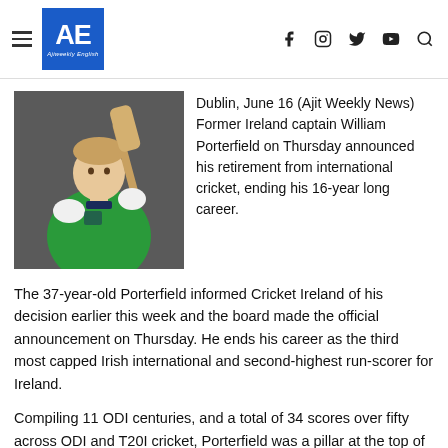AE Ajiweekly English — social icons: f, instagram, twitter, youtube, search
[Figure (photo): William Porterfield in Ireland cricket green kit holding a bat over his shoulder, posed against a dark grey background]
Dublin, June 16 (Ajit Weekly News) Former Ireland captain William Porterfield on Thursday announced his retirement from international cricket, ending his 16-year long career.
The 37-year-old Porterfield informed Cricket Ireland of his decision earlier this week and the board made the official announcement on Thursday. He ends his career as the third most capped Irish international and second-highest run-scorer for Ireland.
Compiling 11 ODI centuries, and a total of 34 scores over fifty across ODI and T20I cricket, Porterfield was a pillar at the top of the order for Ireland, scoring close to 10,000 runs